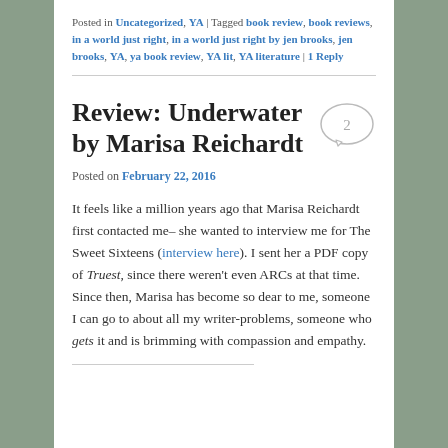Posted in Uncategorized, YA | Tagged book review, book reviews, in a world just right, in a world just right by jen brooks, jen brooks, YA, ya book review, YA lit, YA literature | 1 Reply
Review: Underwater by Marisa Reichardt
Posted on February 22, 2016
It feels like a million years ago that Marisa Reichardt first contacted me– she wanted to interview me for The Sweet Sixteens (interview here). I sent her a PDF copy of Truest, since there weren't even ARCs at that time. Since then, Marisa has become so dear to me, someone I can go to about all my writer-problems, someone who gets it and is brimming with compassion and empathy.